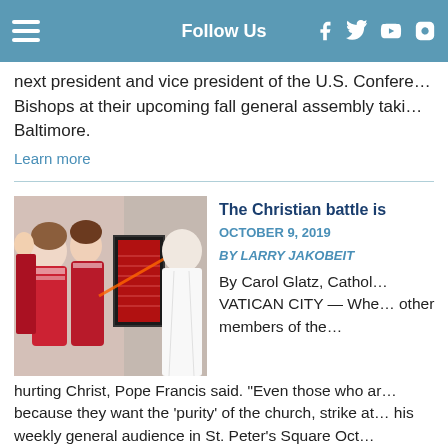Follow Us
next president and vice president of the U.S. Conference of Bishops at their upcoming fall general assembly taking place in Baltimore.
Learn more
[Figure (photo): Photo showing people in traditional red and white folk costumes on left, and a figure in white papal robes on right, holding a framed item with red ribbon.]
The Christian battle is
OCTOBER 9, 2019
BY LARRY JAKOBEIT
By Carol Glatz, Catholic — VATICAN CITY — When other members of the hurting Christ, Pope Francis said. "Even those who are because they want the 'purity' of the church, strike at his weekly general audience in St. Peter's Square Oct